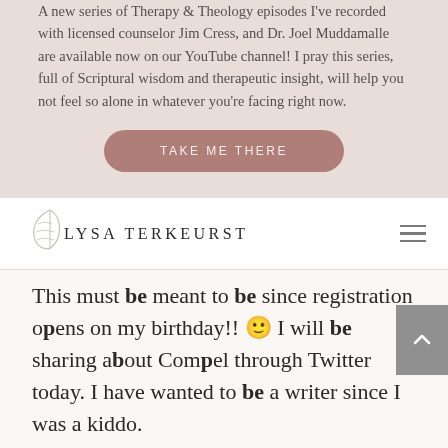A new series of Therapy & Theology episodes I've recorded with licensed counselor Jim Cress, and Dr. Joel Muddamalle are available now on our YouTube channel! I pray this series, full of Scriptural wisdom and therapeutic insight, will help you not feel so alone in whatever you're facing right now.
TAKE ME THERE
LYSA TERKEURST
This must be meant to be since registration opens on my birthday!! 🙂 I will be sharing about Compel through Twitter today. I have wanted to be a writer since I was a kiddo.